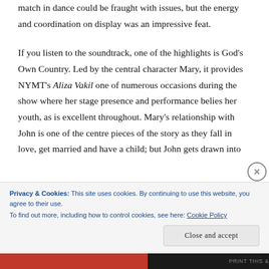match in dance could be fraught with issues, but the energy and coordination on display was an impressive feat.
If you listen to the soundtrack, one of the highlights is God's Own Country. Led by the central character Mary, it provides NYMT's Aliza Vakil one of numerous occasions during the show where her stage presence and performance belies her youth, as is excellent throughout. Mary's relationship with John is one of the centre pieces of the story as they fall in love, get married and have a child; but John gets drawn into
Privacy & Cookies: This site uses cookies. By continuing to use this website, you agree to their use.
To find out more, including how to control cookies, see here: Cookie Policy
Close and accept